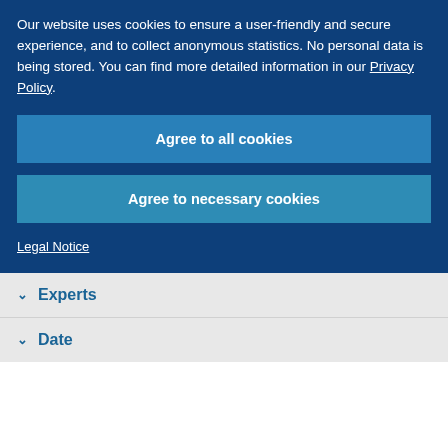Our website uses cookies to ensure a user-friendly and secure experience, and to collect anonymous statistics. No personal data is being stored. You can find more detailed information in our Privacy Policy.
Agree to all cookies
Agree to necessary cookies
Legal Notice
Experts
Date
« * » 2 Results